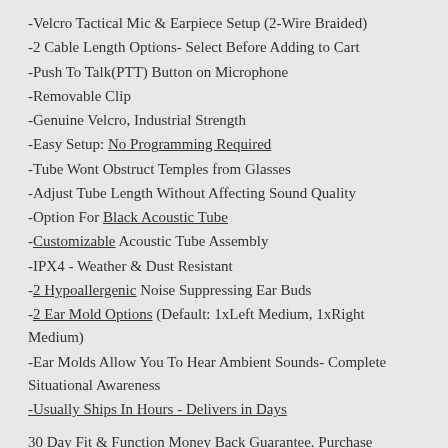-Velcro Tactical Mic & Earpiece Setup (2-Wire Braided)
-2 Cable Length Options- Select Before Adding to Cart
-Push To Talk(PTT) Button on Microphone
-Removable Clip
-Genuine Velcro, Industrial Strength
-Easy Setup: No Programming Required
-Tube Wont Obstruct Temples from Glasses
-Adjust Tube Length Without Affecting Sound Quality
-Option For Black Acoustic Tube
-Customizable Acoustic Tube Assembly
-IPX4 - Weather & Dust Resistant
-2 Hypoallergenic Noise Suppressing Ear Buds
-2 Ear Mold Options (Default: 1xLeft Medium, 1xRight Medium)
-Ear Molds Allow You To Hear Ambient Sounds- Complete Situational Awareness
-Usually Ships In Hours - Delivers in Days
30 Day Fit & Function Money Back Guarantee. Purchase